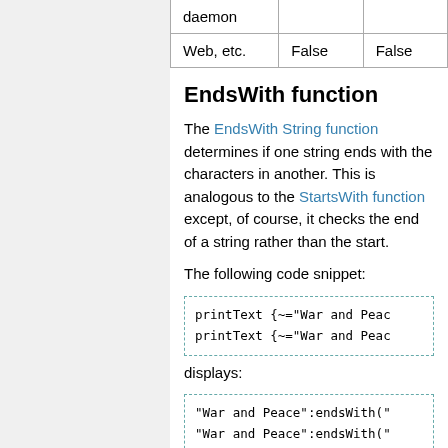|  |  |  |
| --- | --- | --- |
| daemon |  |  |
| Web, etc. | False | False |
EndsWith function
The EndsWith String function determines if one string ends with the characters in another. This is analogous to the StartsWith function except, of course, it checks the end of a string rather than the start.
The following code snippet:
[Figure (screenshot): Code block showing: printText {~="War and Peac  printText {~="War and Peac]
displays:
[Figure (screenshot): Code block showing: "War and Peace":endsWith("  "War and Peace":endsWith("]
$ProcOnn